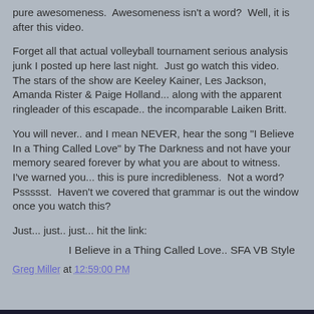pure awesomeness.  Awesomeness isn't a word?  Well, it is after this video.
Forget all that actual volleyball tournament serious analysis junk I posted up here last night.  Just go watch this video.  The stars of the show are Keeley Kainer, Les Jackson, Amanda Rister & Paige Holland... along with the apparent ringleader of this escapade.. the incomparable Laiken Britt.
You will never.. and I mean NEVER, hear the song "I Believe In a Thing Called Love" by The Darkness and not have your memory seared forever by what you are about to witness.  I've warned you... this is pure incredibleness.  Not a word?  Pssssst.  Haven't we covered that grammar is out the window once you watch this?
Just... just.. just... hit the link:
I Believe in a Thing Called Love.. SFA VB Style
Greg Miller at 12:59:00 PM